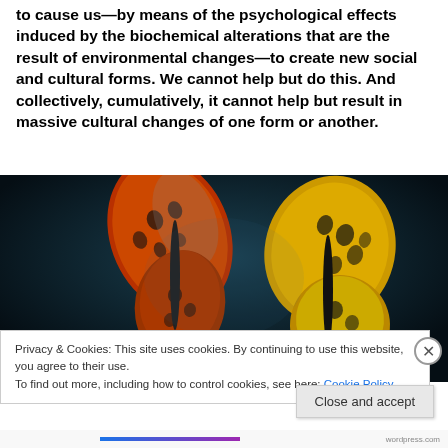to cause us—by means of the psychological effects induced by the biochemical alterations that are the result of environmental changes—to create new social and cultural forms. We cannot help but do this. And collectively, cumulatively, it cannot help but result in massive cultural changes of one form or another.
[Figure (photo): Close-up photograph of two butterflies on a dark background. One butterfly displays orange-red wings with black spots, the other shows yellow and black patterned wings.]
Privacy & Cookies: This site uses cookies. By continuing to use this website, you agree to their use. To find out more, including how to control cookies, see here: Cookie Policy
Close and accept